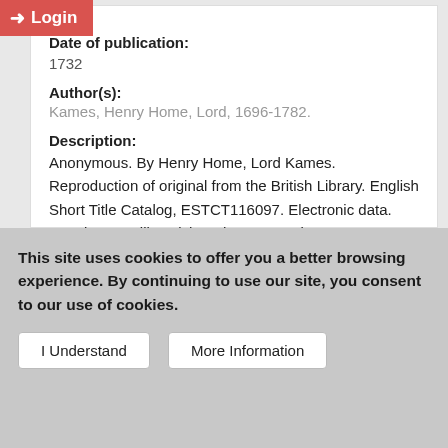Login
Date of publication:
1732
Author(s):
Kames, Henry Home, Lord, 1696-1782.
Description:
Anonymous. By Henry Home, Lord Kames. Reproduction of original from the British Library. English Short Title Catalog, ESTCT116097. Electronic data. Farmington Hills, Mich. : Thomson Gale, 2003. Page image (PNG). Digitized ...
This item contains 3 files (804.17 KB).
Publicly Available
This site uses cookies to offer you a better browsing experience. By continuing to use our site, you consent to our use of cookies.
I Understand
More Information